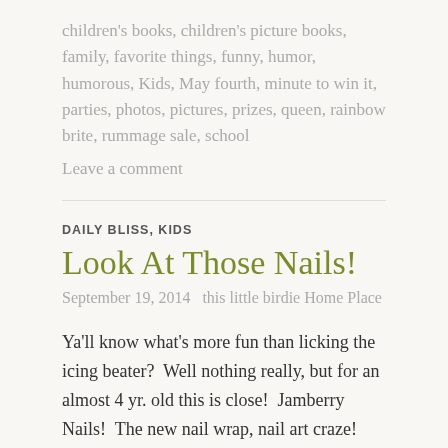children's books, children's picture books, family, favorite things, funny, humor, humorous, Kids, May fourth, minute to win it, parties, photos, pictures, prizes, queen, rainbow brite, rummage sale, school
Leave a comment
DAILY BLISS, KIDS
Look At Those Nails!
September 19, 2014   this little birdie Home Place
Ya'll know what's more fun than licking the icing beater?  Well nothing really, but for an almost 4 yr. old this is close!  Jamberry Nails!  The new nail wrap, nail art craze! Seriously, just pull those